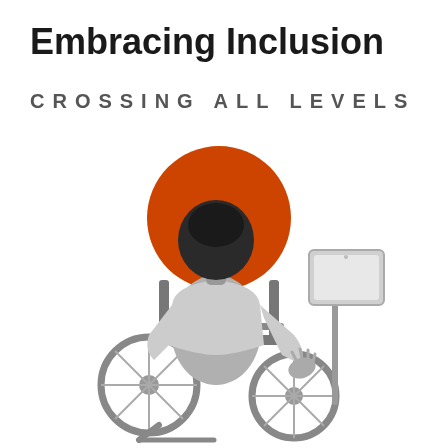Embracing Inclusion
CROSSING ALL LEVELS
[Figure (illustration): Illustration of a person viewed from behind sitting in a wheelchair, interacting with a tablet mounted on a stand. An orange circle is behind the person's head serving as a backdrop. The person is drawn in grayscale tones.]